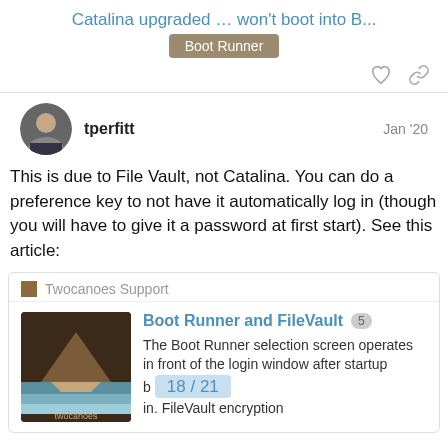Catalina upgraded … won't boot into B…
Boot Runner
tperfitt   Jan '20
This is due to File Vault, not Catalina. You can do a preference key to not have it automatically log in (though you will have to give it a password at first start). See this article:
Twocanoes Support
Boot Runner and FileVault 5
The Boot Runner selection screen operates in front of the login window after startup b in. FileVault encryption
18 / 21